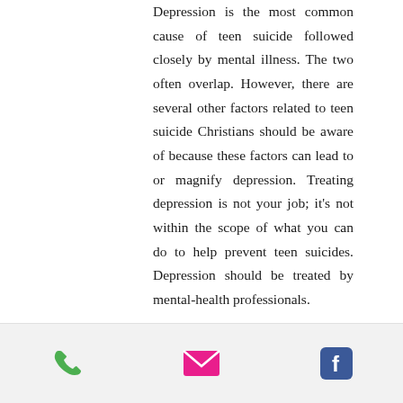Depression is the most common cause of teen suicide followed closely by mental illness. The two often overlap. However, there are several other factors related to teen suicide Christians should be aware of because these factors can lead to or magnify depression. Treating depression is not your job; it's not within the scope of what you can do to help prevent teen suicides. Depression should be treated by mental-health professionals.
[Figure (infographic): Footer bar with three icons: a green phone icon, a pink/magenta email envelope icon, and a blue Facebook icon]